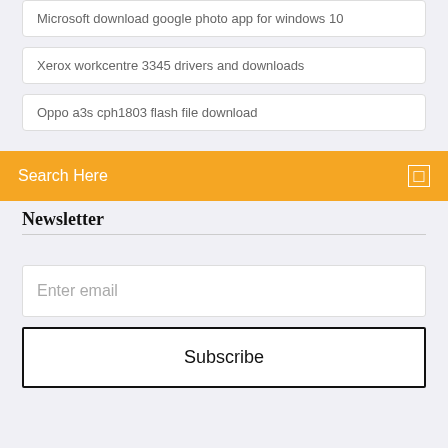Microsoft download google photo app for windows 10
Xerox workcentre 3345 drivers and downloads
Oppo a3s cph1803 flash file download
Search Here
Newsletter
Enter email
Subscribe